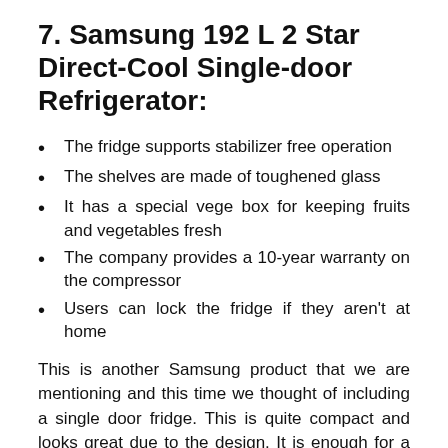7. Samsung 192 L 2 Star Direct-Cool Single-door Refrigerator:
The fridge supports stabilizer free operation
The shelves are made of toughened glass
It has a special vege box for keeping fruits and vegetables fresh
The company provides a 10-year warranty on the compressor
Users can lock the fridge if they aren't at home
This is another Samsung product that we are mentioning and this time we thought of including a single door fridge. This is quite compact and looks great due to the design. It is enough for a family that has 3 to 4 members and for those who are looking for something small. The fridge is quite efficient and it has all the components like even cooking and extra